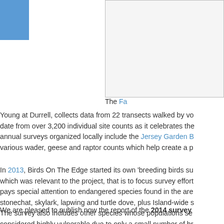[Figure (photo): Photograph placeholder with blue decorative square in top-left corner and image area with border]
The Fa[rm Wildlife Survey run by Farming and]...
Young at Durrell, collects data from 22 transects walked by vo... date from over 3,200 individual site counts as it celebrates the... annual surveys organized locally include the Jersey Garden B... various wader, geese and raptor counts which help create a p...
In 2013, Birds On The Edge started its own 'breeding birds su... which was relevant to the project, that is to focus survey effort... pays special attention to endangered species found in the are... stonechat, skylark, lapwing and turtle dove, plus Island-wide s... The survey also includes other species whose populations se... considered highly vulnerable due to only a small number of br...
We are pleased to publish now the report of the 2014 survey...